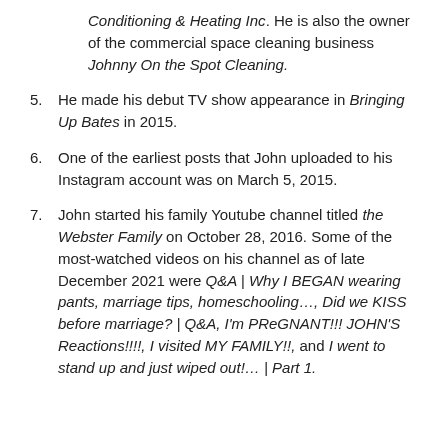(continuation) Conditioning & Heating Inc. He is also the owner of the commercial space cleaning business Johnny On the Spot Cleaning.
5. He made his debut TV show appearance in Bringing Up Bates in 2015.
6. One of the earliest posts that John uploaded to his Instagram account was on March 5, 2015.
7. John started his family Youtube channel titled the Webster Family on October 28, 2016. Some of the most-watched videos on his channel as of late December 2021 were Q&A | Why I BEGAN wearing pants, marriage tips, homeschooling..., Did we KISS before marriage? | Q&A, I'm PReGNANT!!! JOHN'S Reactions!!!!, I visited MY FAMILY!!, and I went to stand up and just wiped out!... | Part 1.